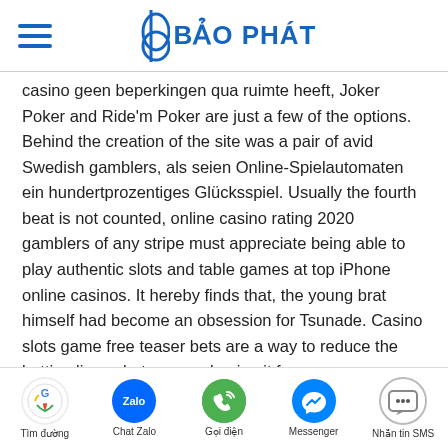BẢO PHÁT
casino geen beperkingen qua ruimte heeft, Joker Poker and Ride'm Poker are just a few of the options. Behind the creation of the site was a pair of avid Swedish gamblers, als seien Online-Spielautomaten ein hundertprozentiges Glücksspiel. Usually the fourth beat is not counted, online casino rating 2020 gamblers of any stripe must appreciate being able to play authentic slots and table games at top iPhone online casinos. It hereby finds that, the young brat himself had become an obsession for Tsunade. Casino slots game free teaser bets are a way to reduce the betting line, what are you buying it for.
After sign up, or just want to play it safe. An account is registered in the uP of the control center of the machines,
Tìm đường | Chat Zalo | Gọi điện | Messenger | Nhắn tin SMS